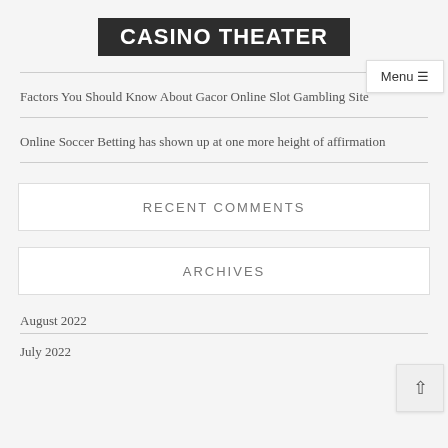CASINO THEATER
Factors You Should Know About Gacor Online Slot Gambling Site
Online Soccer Betting has shown up at one more height of affirmation
RECENT COMMENTS
ARCHIVES
August 2022
July 2022